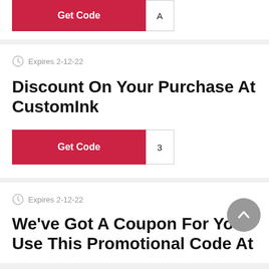[Figure (screenshot): Top partial card showing a red Get Code button with letter A stub, clipped at top]
Expires 2-12-22
Discount On Your Purchase At CustomInk
[Figure (screenshot): Red Get Code button with code stub showing '3']
Expires 2-12-22
We've Got A Coupon For You. Use This Promotional Code At